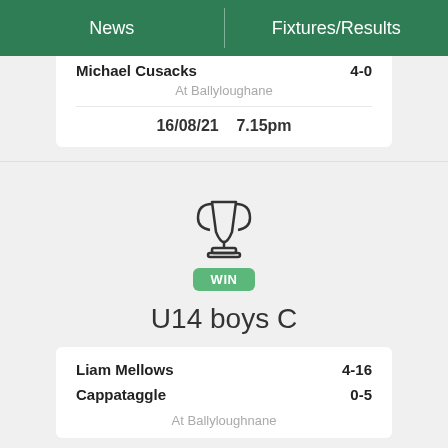News | Fixtures/Results
Michael Cusacks   4-0
At Ballyloughane
16/08/21   7.15pm
[Figure (illustration): Trophy icon with WIN badge]
U14 boys C
Liam Mellows   4-16
Cappataggle   0-5
At Ballyloughnane